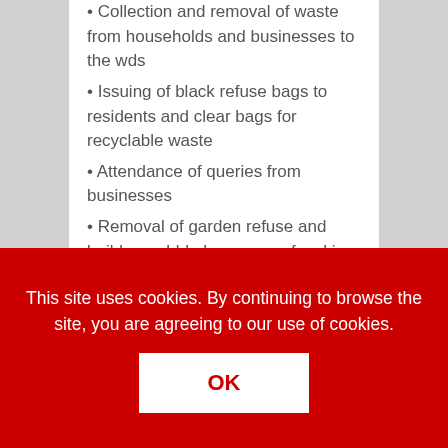Collection and removal of waste from households and businesses to the wds
Issuing of black refuse bags to residents and clear bags for recyclable waste
Attendance of queries from businesses
Removal of garden refuse and builders rubble by means of a skip services/roll on
This site uses cookies. By continuing to browse the site, you are agreeing to our use of cookies.